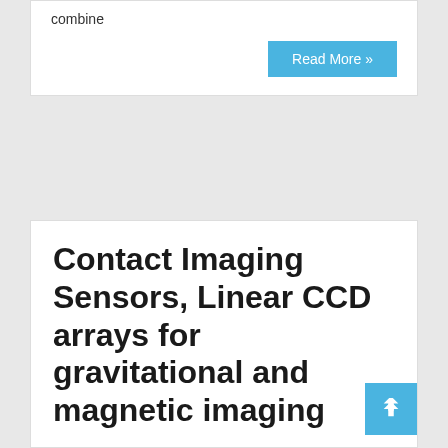combine
Read More »
Contact Imaging Sensors, Linear CCD arrays for gravitational and magnetic imaging
Richard K Collins  3D Scannning Replication, All Sky Cameras, Collaborative Global Model of the Sun, Gravitational Engineering, Schools, Universities, Learning, Working, Sun Moon Vector Tidal Signal  October 1, 2022